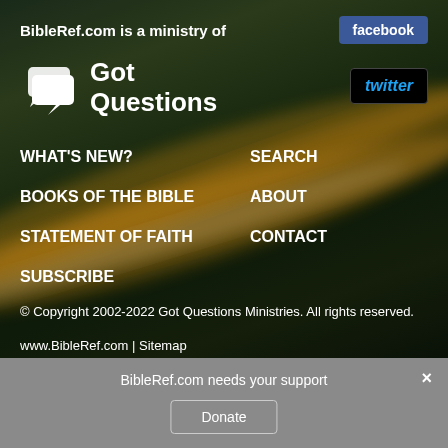BibleRef.com is a ministry of
[Figure (logo): Got Questions logo with speech bubble icon and bold white text 'Got Questions']
[Figure (logo): Facebook button - blue rounded rectangle with white text 'facebook']
[Figure (logo): Twitter button - black rounded rectangle with cyan italic text 'twitter']
WHAT'S NEW?
SEARCH
BOOKS OF THE BIBLE
ABOUT
STATEMENT OF FAITH
CONTACT
SUBSCRIBE
© Copyright 2002-2022 Got Questions Ministries. All rights reserved.
www.BibleRef.com  |  Sitemap
BibleRef.com needs your support
Donate